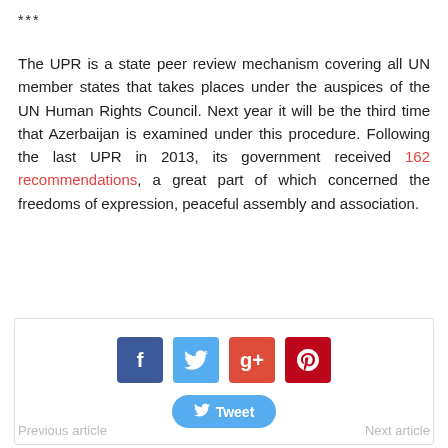***
The UPR is a state peer review mechanism covering all UN member states that takes places under the auspices of the UN Human Rights Council. Next year it will be the third time that Azerbaijan is examined under this procedure. Following the last UPR in 2013, its government received 162 recommendations, a great part of which concerned the freedoms of expression, peaceful assembly and association.
[Figure (infographic): Social sharing buttons: Facebook (f), Twitter (bird icon), Google+ (g+), Pinterest (p) icons, and a Tweet button.]
Previous article    Next article